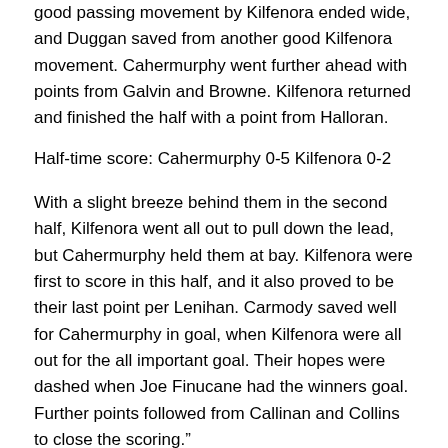good passing movement by Kilfenora ended wide, and Duggan saved from another good Kilfenora movement. Cahermurphy went further ahead with points from Galvin and Browne. Kilfenora returned and finished the half with a point from Halloran.
Half-time score: Cahermurphy 0-5 Kilfenora 0-2
With a slight breeze behind them in the second half, Kilfenora went all out to pull down the lead, but Cahermurphy held them at bay. Kilfenora were first to score in this half, and it also proved to be their last point per Lenihan. Carmody saved well for Cahermurphy in goal, when Kilfenora were all out for the all important goal. Their hopes were dashed when Joe Finucane had the winners goal. Further points followed from Callinan and Collins to close the scoring."
Final score: Cahermurphy 1-7 Kilfenora 0-3.
1958 was a historic year for Kilmihil Football Club. It was